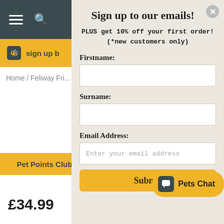[Figure (screenshot): Website navigation bar with hamburger menu and search icon on dark teal background]
sign up b...
Home / Feliway Fri...
Sign up to our emails!
PLUS get 10% off your first order! (*new customers only)
Firstname:
Surname:
Email Address:
Enter your email address
Pet Points Club
£34.99
Submit
Pets Chat